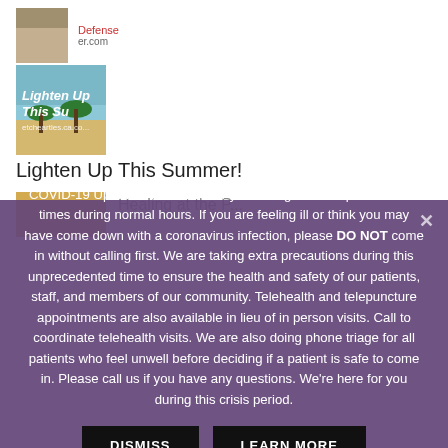[Figure (photo): Thumbnail image of a desert/sandy landscape with text 'Defense' and URL partial visible]
Defense
er.com
[Figure (photo): Thumbnail image with teal/blue background showing palm trees and italic text 'Lighten Up This Summer!' with URL]
Lighten Up This Summer!
[Figure (photo): Partial thumbnail with golden/wheat colored background]
COVID-19 Update: We're here for you during these unprecedented times during normal hours. If you are feeling ill or think you may have come down with a coronavirus infection, please DO NOT come in without calling first. We are taking extra precautions during this unprecedented time to ensure the health and safety of our patients, staff, and members of our community. Telehealth and telepuncture appointments are also available in lieu of in person visits. Call to coordinate telehealth visits. We are also doing phone triage for all patients who feel unwell before deciding if a patient is safe to come in. Please call us if you have any questions. We're here for you during this crisis period.
DISMISS
LEARN MORE